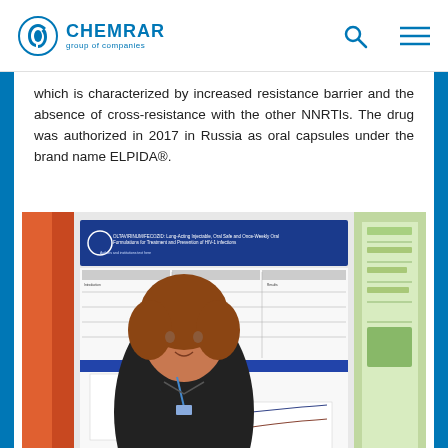CHEMRAR group of companies
which is characterized by increased resistance barrier and the absence of cross-resistance with the other NNRTIs. The drug was authorized in 2017 in Russia as oral capsules under the brand name ELPIDA®.
[Figure (photo): Photo of a woman standing in front of a scientific conference poster. The poster has a blue header and appears to be about HIV treatment formulations. A green poster is visible to the right.]